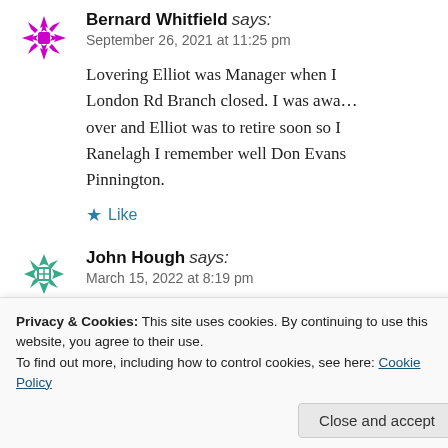Bernard Whitfield says:
September 26, 2021 at 11:25 pm

Lovering Elliot was Manager when I London Rd Branch closed. I was away over and Elliot was to retire soon so Ranelagh I remember well Don Evans Pinnington.
Like
John Hough says:
March 15, 2022 at 8:19 pm
Privacy & Cookies: This site uses cookies. By continuing to use this website, you agree to their use.
To find out more, including how to control cookies, see here: Cookie Policy
Close and accept